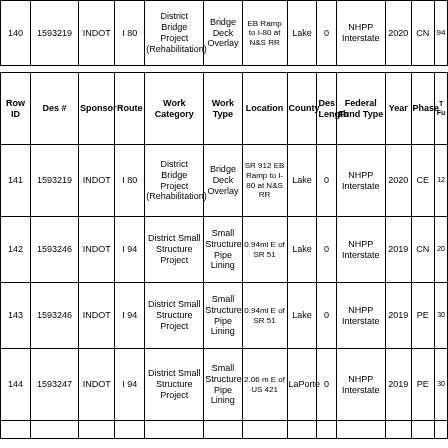| Row ID | Des # | Sponsor | Route | Work Category | Work Type | Location | County | Des Length | Federal Fund Type | Year | Phase | T Fu |
| --- | --- | --- | --- | --- | --- | --- | --- | --- | --- | --- | --- | --- |
| 140 | 1593219 | INDOT | I 80 | District Bridge Project (Rehabilitation) | Bridge Deck Overlay | EB Ramp to I-80 at N&S RR | Lake | 0 | NHPP Interstate | 2020 | CN | 94 |
| 141 | 1593219 | INDOT | I 80 | District Bridge Project (Rehabilitation) | Bridge Deck Overlay | SR 912 EB Ramp to I-80 at N&S RR | Lake | 0 | NHPP Interstate | 2020 | CE | 12 |
| 142 | 1593246 | INDOT | I 94 | District Small Structure Project | Small Structure Pipe Lining | 0.94mi E of SR 51 | Lake | 0 | NHPP Interstate | 2019 | CN | 20 |
| 143 | 1593246 | INDOT | I 94 | District Small Structure Project | Small Structure Pipe Lining | 0.94mi E of SR 51 | Lake | 0 | NHPP Interstate | 2019 | PE | 30 |
| 144 | 1593247 | INDOT | I 94 | District Small Structure Project | Small Structure Pipe Lining | 2.06 m E of US 421 | LaPorte | 0 | NHPP Interstate | 2019 | PE | 30 |